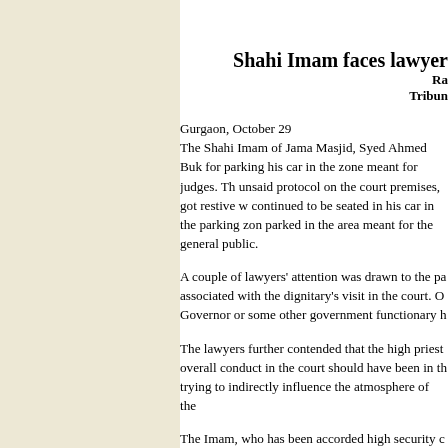Shahi Imam faces lawyer
Ra
Tribun
Gurgaon, October 29
The Shahi Imam of Jama Masjid, Syed Ahmed Buk for parking his car in the zone meant for judges. Th unsaid protocol on the court premises, got restive w continued to be seated in his car in the parking zon parked in the area meant for the general public.
A couple of lawyers' attention was drawn to the pa associated with the dignitary's visit in the court. O Governor or some other government functionary h
The lawyers further contended that the high priest overall conduct in the court should have been in th trying to indirectly influence the atmosphere of the
The Imam, who has been accorded high security c personnel around him remained indifferent to their
The lawyers were pacified only when the security zone while he was taken to the designated court. A come, the security personnel whisked him away fr